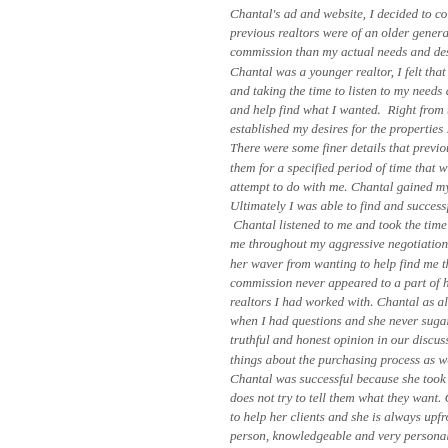Chantal's ad and website, I decided to contact her seeking he previous realtors were of an older generation and were more commission than my actual needs and desires for my first inve Chantal was a younger realtor, I felt that she would be more o and taking the time to listen to my needs and take the time to t and help find what I wanted. Right from the initial communice established my desires for the properties I was interested in an There were some finer details that previous realtors had impos them for a specified period of time that was beyond reasonable attempt to do with me. Chantal gained my trust in her and in n Ultimately I was able to find and successfully negotiate the pu Chantal listened to me and took the time to understand what I me throughout my aggressive negotiation on the closing price her waver from wanting to help find me the property that I wa commission never appeared to a part of her equation, as was t realtors I had worked with. Chantal as also always very willin when I had questions and she never sugar coated anything. Ch truthful and honest opinion in our discussions. As a result I wa things about the purchasing process as well as other real esta Chantal was successful because she took the time to understar does not try to tell them what they want. Chantal goes above a to help her clients and she is always upfront and honest. Chan person, knowledgeable and very personable. All of which mak main thing Chantal did for me was not try to tell me what I wa me to look at properties that were not what I was interested in of what I wanted. Knowing that I could trust her to respect my me. If a potential client was on the fence about whether to wo tell them to just talk to her. Unlike other realtors I have dealt